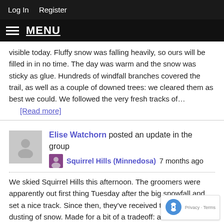Log In   Register
≡ MENU
visible today. Fluffy snow was falling heavily, so ours will be filled in in no time. The day was warm and the snow was sticky as glue. Hundreds of windfall branches covered the trail, as well as a couple of downed trees: we cleared them as best we could. We followed the very fresh tracks of…
[Read more]
Elise Watchorn posted an update in the group
Squirrel Hills (Minnedosa) 7 months ago
We skied Squirrel Hills this afternoon. The groomers were apparently out first thing Tuesday after the big snowfall and set a nice track. Since then, they've received the tiniest dusting of snow. Made for a bit of a tradeoff: a bit less than expected (hoped), but more manageable hill speeds. Really appreciated that the groomers left the s…